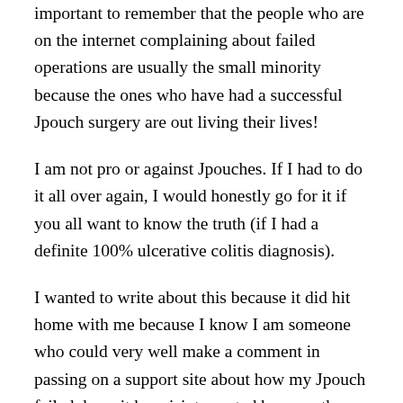important to remember that the people who are on the internet complaining about failed operations are usually the small minority because the ones who have had a successful Jpouch surgery are out living their lives!
I am not pro or against Jpouches. If I had to do it all over again, I would honestly go for it if you all want to know the truth (if I had a definite 100% ulcerative colitis diagnosis).
I wanted to write about this because it did hit home with me because I know I am someone who could very well make a comment in passing on a support site about how my Jpouch failed, have it be misinterpreted because there is no backstory, and I would never ever want that to influence anyone.
So, my advice to anyone considering ANY type of surgery is to